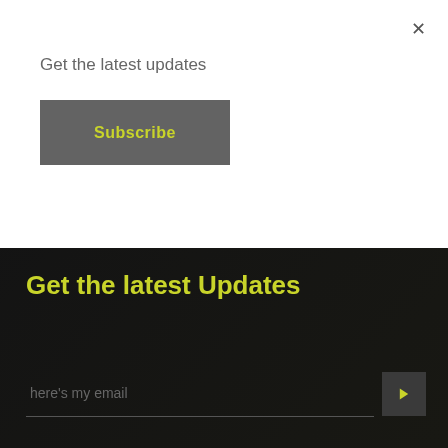×
Get the latest updates
Subscribe
Get the latest Updates
here's my email
BACK TO TOP
A Kanzu Code Solution